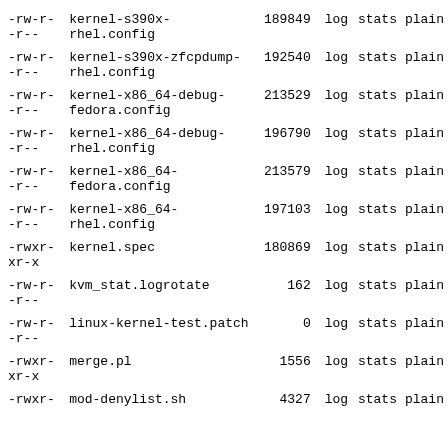| permissions | filename | size | log | stats | plain |
| --- | --- | --- | --- | --- | --- |
| -rw-r--r-- | kernel-s390x-rhel.config | 189849 | log | stats | plain |
| -rw-r--r-- | kernel-s390x-zfcpdump-rhel.config | 192540 | log | stats | plain |
| -rw-r--r-- | kernel-x86_64-debug-fedora.config | 213529 | log | stats | plain |
| -rw-r--r-- | kernel-x86_64-debug-rhel.config | 196790 | log | stats | plain |
| -rw-r--r-- | kernel-x86_64-fedora.config | 213579 | log | stats | plain |
| -rw-r--r-- | kernel-x86_64-rhel.config | 197103 | log | stats | plain |
| -rwxr-xr-x | kernel.spec | 180869 | log | stats | plain |
| -rw-r--r-- | kvm_stat.logrotate | 162 | log | stats | plain |
| -rw-r--r-- | linux-kernel-test.patch | 0 | log | stats | plain |
| -rwxr-xr-x | merge.pl | 1556 | log | stats | plain |
| -rwxr- | mod-denylist.sh | 4327 | log | stats | plain |